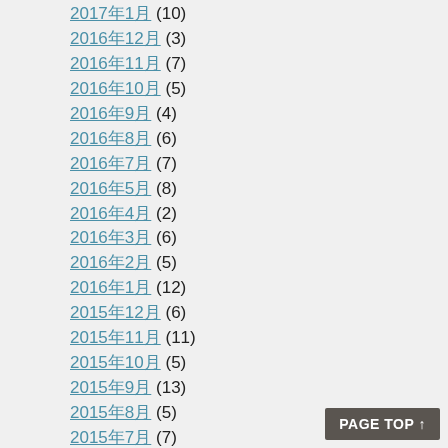2017年1月 (10)
2016年12月 (3)
2016年11月 (7)
2016年10月 (5)
2016年9月 (4)
2016年8月 (6)
2016年7月 (7)
2016年5月 (8)
2016年4月 (2)
2016年3月 (6)
2016年2月 (5)
2016年1月 (12)
2015年12月 (6)
2015年11月 (11)
2015年10月 (5)
2015年9月 (13)
2015年8月 (5)
2015年7月 (7)
2015年6月 (4)
2015年5月 (2)
2015年4月 (4)
2015年3月 (11)
2015年2月 (3)
2015年1月 (3)
2014年12月 (9)
2014年10月 (9)
PAGE TOP ↑